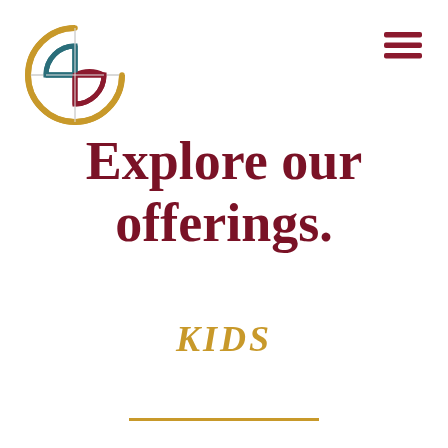[Figure (logo): Abstract circular logo with overlapping quarter-circle arcs in gold/yellow, teal/dark cyan, and red/dark red colors forming a stylized bowl or cup shape]
[Figure (other): Hamburger menu icon — three horizontal dark red lines stacked vertically]
Explore our offerings.
KIDS
[Figure (other): Horizontal gold/yellow decorative line separator]